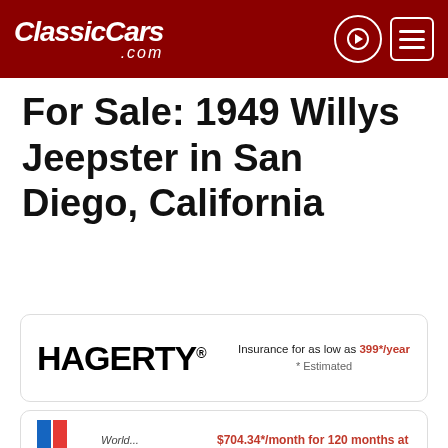ClassicCars.com
For Sale: 1949 Willys Jeepster in San Diego, California
[Figure (logo): Hagerty insurance ad card: HAGERTY logo with text 'Insurance for as low as 399*/year * Estimated']
[Figure (logo): National Transport Services ad card with N logo and text 'Auto transport you can count on']
[Figure (logo): Partial ad card at bottom showing '$704.34*/month for 120 months at' in red]